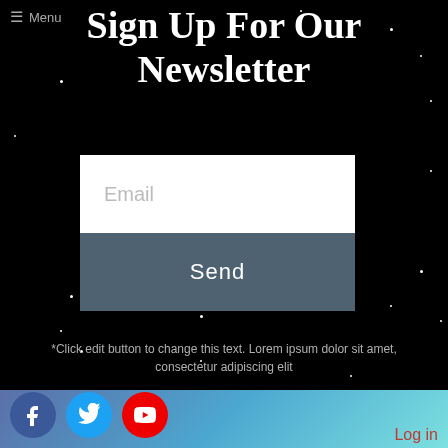≡ Menu
Sign Up For Our Newsletter
Email
Send
Click edit button to change this text. Lorem ipsum dolor sit amet, consectetur adipiscing elit
[Figure (infographic): Social media icons: Facebook (blue circle), Twitter (light blue circle), YouTube (red circle)]
Log in